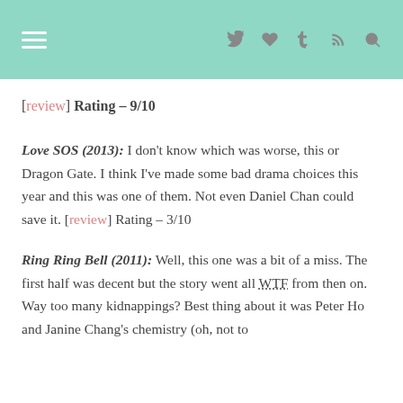[navigation bar with hamburger menu and icons: twitter, heart, tumblr, rss, search]
[review] Rating – 9/10
Love SOS (2013): I don't know which was worse, this or Dragon Gate. I think I've made some bad drama choices this year and this was one of them. Not even Daniel Chan could save it. [review] Rating – 3/10
Ring Ring Bell (2011): Well, this one was a bit of a miss. The first half was decent but the story went all WTF from then on. Way too many kidnappings? Best thing about it was Peter Ho and Janine Chang's chemistry (oh, not to